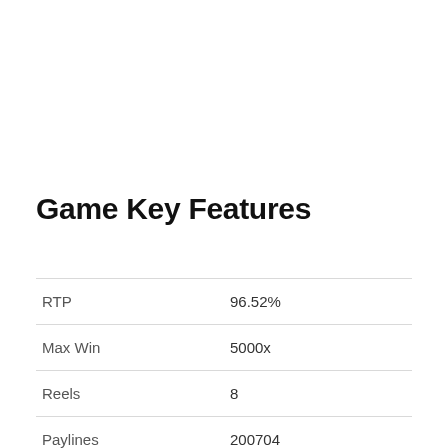Game Key Features
|  |  |
| --- | --- |
| RTP | 96.52% |
| Max Win | 5000x |
| Reels | 8 |
| Paylines | 200704 |